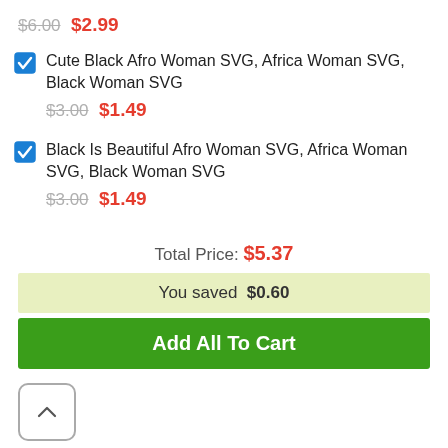$6.00 $2.99
Cute Black Afro Woman SVG, Africa Woman SVG, Black Woman SVG
$3.00 $1.49
Black Is Beautiful Afro Woman SVG, Africa Woman SVG, Black Woman SVG
$3.00 $1.49
Total Price: $5.37
You saved $0.60
Add All To Cart